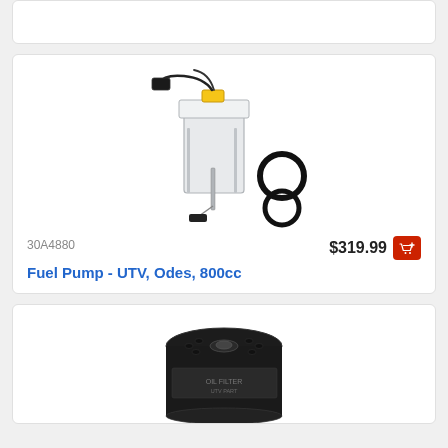[Figure (photo): Top card (partial) - cropped product card visible at top of page]
[Figure (photo): Fuel pump assembly for UTV, Odes, 800cc with two O-rings beside it]
30A4880
$319.99
Fuel Pump - UTV, Odes, 800cc
[Figure (photo): Black cylindrical oil filter viewed from above, partially visible at bottom of page]